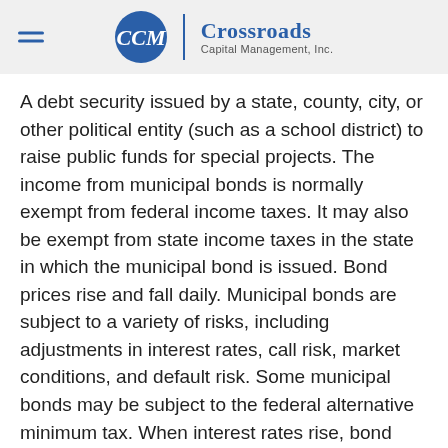Crossroads Capital Management, Inc.
A debt security issued by a state, county, city, or other political entity (such as a school district) to raise public funds for special projects. The income from municipal bonds is normally exempt from federal income taxes. It may also be exempt from state income taxes in the state in which the municipal bond is issued. Bond prices rise and fall daily. Municipal bonds are subject to a variety of risks, including adjustments in interest rates, call risk, market conditions, and default risk. Some municipal bonds may be subject to the federal alternative minimum tax. When interest rates rise, bond prices generally will fall. Certain municipal bonds may be difficult to sell. A municipal bond issuer may be unable to make interest or principal payments, which may lead to the issuer defaulting on the bond. If this occurs, the municipal bond may have little or no value. If a bor